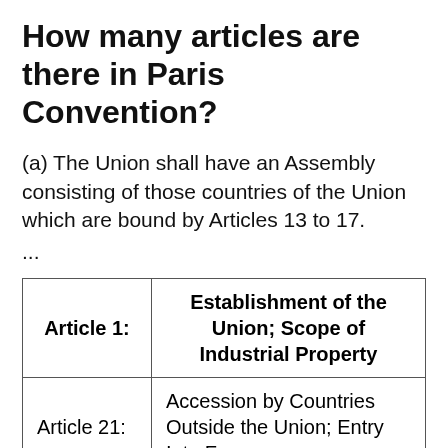How many articles are there in Paris Convention?
(a) The Union shall have an Assembly consisting of those countries of the Union which are bound by Articles 13 to 17.
...
| Article 1: | Establishment of the Union; Scope of Industrial Property |
| --- | --- |
| Article 21: | Accession by Countries Outside the Union; Entry Into Force |
What does it mean to say that the Paris Convention is based on the principle of